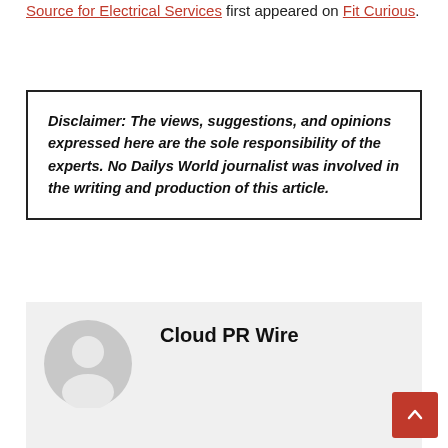first appeared on Fit Curious.
Disclaimer: The views, suggestions, and opinions expressed here are the sole responsibility of the experts. No Dailys World journalist was involved in the writing and production of this article.
[Figure (illustration): Author avatar placeholder with grey silhouette of a person]
Cloud PR Wire